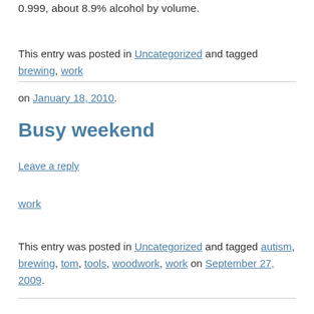0.999, about 8.9% alcohol by volume.
This entry was posted in Uncategorized and tagged brewing, work on January 18, 2010.
Busy weekend
Leave a reply
work
This entry was posted in Uncategorized and tagged autism, brewing, tom, tools, woodwork, work on September 27, 2009.